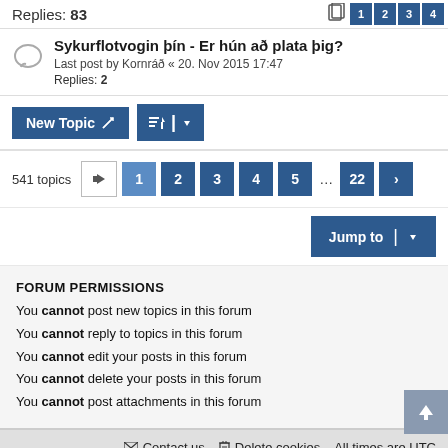Replies: 83
Sykurflotvogin þín - Er hún að plata þig?
Last post by Kornráð « 20. Nov 2015 17:47
Replies: 2
New Topic
541 topics  1 2 3 4 5 … 22 >
Jump to
FORUM PERMISSIONS
You cannot post new topics in this forum
You cannot reply to topics in this forum
You cannot edit your posts in this forum
You cannot delete your posts in this forum
You cannot post attachments in this forum
Contact us   Delete cookies   All times are UTC
Powered by phpBB® Forum Software © phpBB Limited
damaio © Mazeltof | cabot
Privacy | Terms